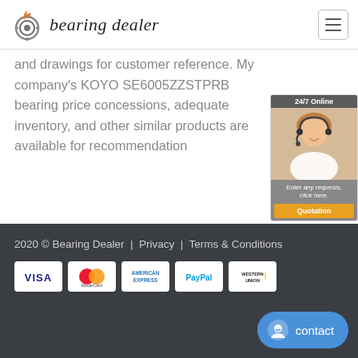bearing dealer
and drawings for customer reference. My company's KOYO SE6005ZZSTPRB bearing price concessions, adequate inventory, and other similar products are available for recommendation
[Figure (photo): 24/7 Online customer service representative photo with headset and quotation button]
2020 © Bearing Dealer  |  Privacy  |  Terms & Conditions
[Figure (illustration): Payment method logos: VISA, MasterCard, American Express, PayPal, Western Union]
[Figure (illustration): Contact button with smiley face icon]